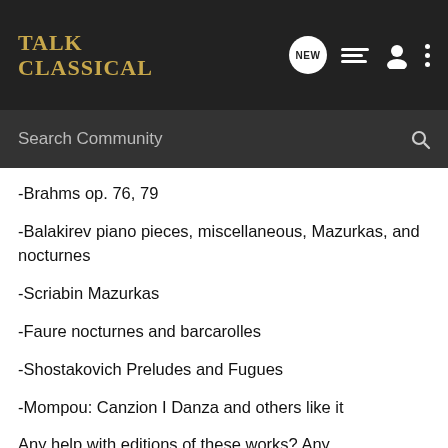Talk Classical
-Brahms op. 76, 79
-Balakirev piano pieces, miscellaneous, Mazurkas, and nocturnes
-Scriabin Mazurkas
-Faure nocturnes and barcarolles
-Shostakovich Preludes and Fugues
-Mompou: Canzion I Danza and others like it
Any help with editions of these works? Any recommendations based on my tastes and abilities?